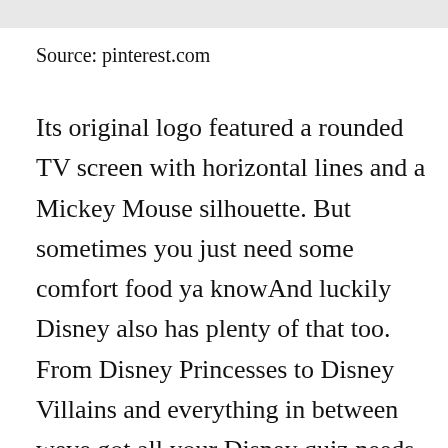[Figure (other): Light grey horizontal bar at top of page]
Source: pinterest.com
Its original logo featured a rounded TV screen with horizontal lines and a Mickey Mouse silhouette. But sometimes you just need some comfort food ya knowAnd luckily Disney also has plenty of that too. From Disney Princesses to Disney Villains and everything in between weve got all your Disney quiz needs covered. The Official Disney Fan Club. The ⓧi-fi action-